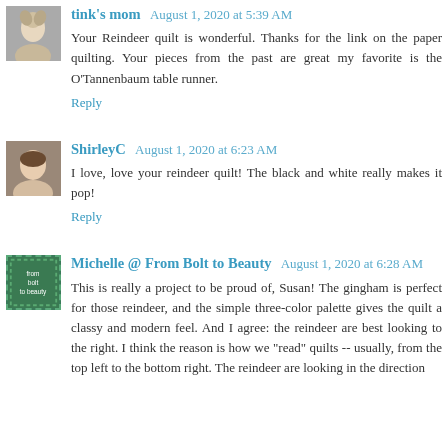tink's mom  August 1, 2020 at 5:39 AM
Your Reindeer quilt is wonderful. Thanks for the link on the paper quilting. Your pieces from the past are great my favorite is the O'Tannenbaum table runner.
Reply
ShirleyC  August 1, 2020 at 6:23 AM
I love, love your reindeer quilt! The black and white really makes it pop!
Reply
Michelle @ From Bolt to Beauty  August 1, 2020 at 6:28 AM
This is really a project to be proud of, Susan! The gingham is perfect for those reindeer, and the simple three-color palette gives the quilt a classy and modern feel. And I agree: the reindeer are best looking to the right. I think the reason is how we "read" quilts -- usually, from the top left to the bottom right. The reindeer are looking in the direction